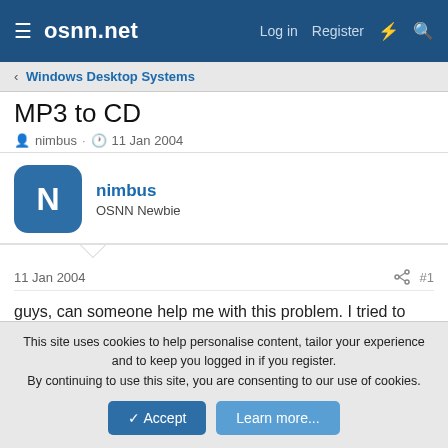osnn.net — Log in  Register
< Windows Desktop Systems
MP3 to CD
nimbus · 11 Jan 2004
nimbus
OSNN Newbie
11 Jan 2004  #1
guys, can someone help me with this problem. I tried to make a Audio Cd by converting some MP3 i have on my comp. I did this with Window Media Player. However, WMP refuse to convert those MP3 without IDE tag. I then switch to Nero Burning Rom
This site uses cookies to help personalise content, tailor your experience and to keep you logged in if you register.
By continuing to use this site, you are consenting to our use of cookies.